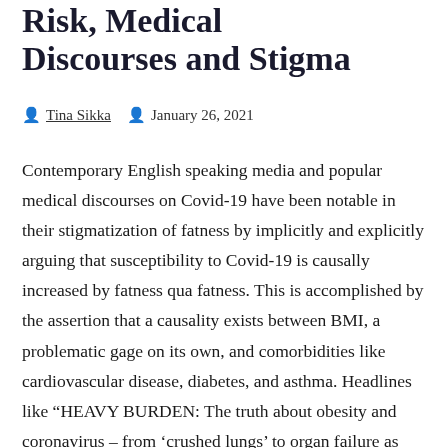Risk, Medical Media Discourses and Stigma
Tina Sikka  January 26, 2021
Contemporary English speaking media and popular medical discourses on Covid-19 have been notable in their stigmatization of fatness by implicitly and explicitly arguing that susceptibility to Covid-19 is causally increased by fatness qua fatness. This is accomplished by the assertion that a causality exists between BMI, a problematic gage on its own, and comorbidities like cardiovascular disease, diabetes, and asthma. Headlines like “HEAVY BURDEN: The truth about obesity and coronavirus – from ‘crushed lungs’ to organ failure as bodies put under ‘severe strain’” (Pocklington 2020), and “Coronavirus: Obese people at greater risk of death and may stay infectious for longer” (Urwin 2020), are indicative of a media landscape that relies on ambiguous and ill-communicated science to